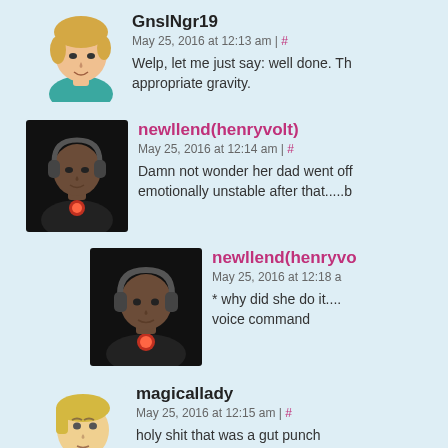GnslNgr19
May 25, 2016 at 12:13 am | #
Welp, let me just say: well done. Th... appropriate gravity.
newllend(henryvolt)
May 25, 2016 at 12:14 am | #
Damn not wonder her dad went off... emotionally unstable after that.....b
newllend(henryvo...
May 25, 2016 at 12:18 a...
* why did she do it.... voice command
magicallady
May 25, 2016 at 12:15 am | #
holy shit that was a gut punch